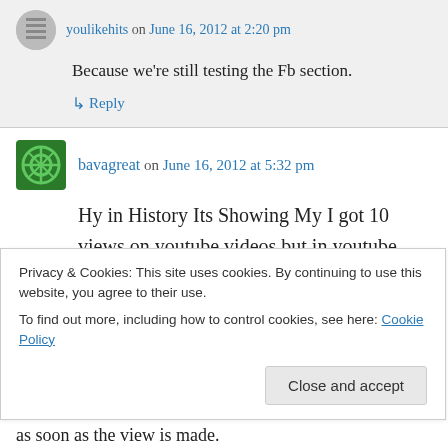youlikehits on June 16, 2012 at 2:20 pm
Because we’re still testing the Fb section.
↳ Reply
bavagreat on June 16, 2012 at 5:32 pm
Hy in History Its Showing My I got 10 views on youtube videos but in youtube video manager Still same em not getting Views....Why
↳ Reply
Privacy & Cookies: This site uses cookies. By continuing to use this website, you agree to their use.
To find out more, including how to control cookies, see here: Cookie Policy
Close and accept
as soon as the view is made.